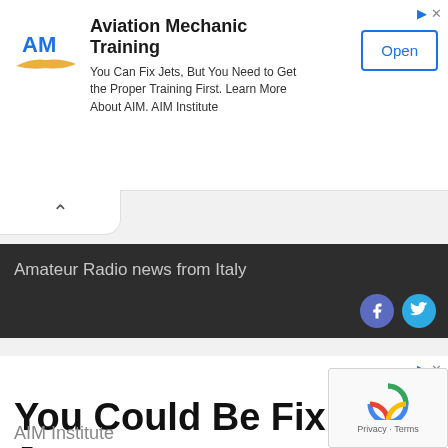[Figure (logo): AM aviation logo with stylized wing]
Aviation Mechanic Training
You Can Fix Jets, But You Need to Get the Proper Training First. Learn More About AIM. AIM Institute
Open
Amateur Radio news from Italy
[Figure (logo): Facebook and Twitter social media icons in circles]
[Figure (infographic): Bottom advertisement banner]
You Could Be Fixing Jets
You Can Fix Jets, But You Need to Get the Proper Training First. Learn More About AI
AIM Institute